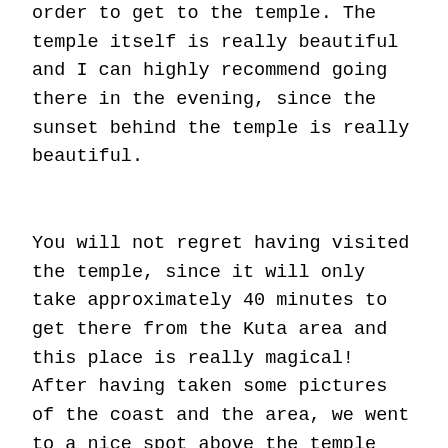order to get to the temple. The temple itself is really beautiful and I can highly recommend going there in the evening, since the sunset behind the temple is really beautiful.
You will not regret having visited the temple, since it will only take approximately 40 minutes to get there from the Kuta area and this place is really magical! After having taken some pictures of the coast and the area, we went to a nice spot above the temple where you can have young coconuts and drinks.